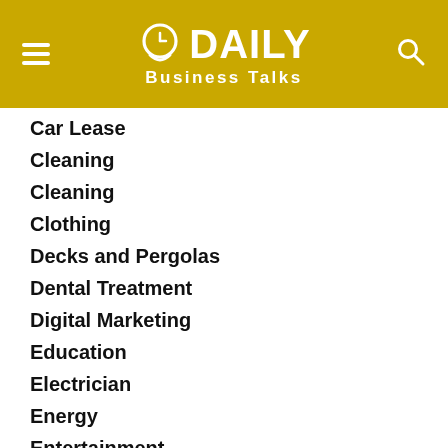Daily Business Talks
Car Lease
Cleaning
Cleaning
Clothing
Decks and Pergolas
Dental Treatment
Digital Marketing
Education
Electrician
Energy
Entertainment
Events
Featured